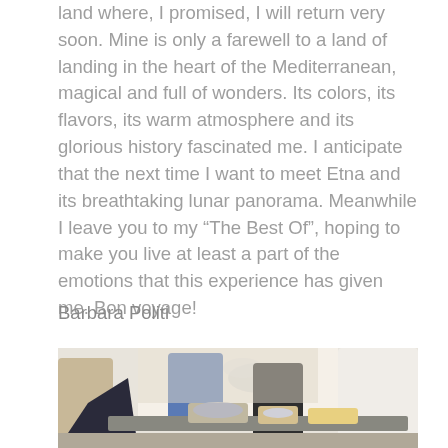land where, I promised, I will return very soon. Mine is only a farewell to a land of landing in the heart of the Mediterranean, magical and full of wonders. Its colors, its flavors, its warm atmosphere and its glorious history fascinated me. I anticipate that the next time I want to meet Etna and its breathtaking lunar panorama. Meanwhile I leave you to my “The Best Of”, hoping to make you live at least a part of the emotions that this experience has given me. Bon voyage!
Barbara Politi
[Figure (photo): Outdoor cooking or grilling scene with several people standing around a table with food and smoke visible, in a bright outdoor setting.]